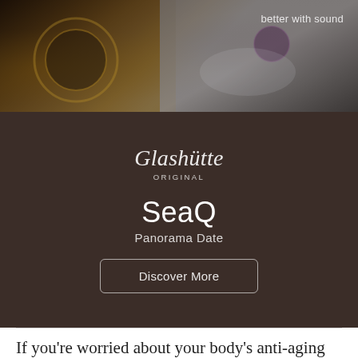[Figure (photo): Dark luxury watch advertisement banner image with gold and gray tones, showing watch parts/jewelry against a dark background]
better with sound
[Figure (logo): Glashütte Original brand logo in white script with ORIGINAL in small caps below]
SeaQ
Panorama Date
Discover More
If you're worried about your body's anti-aging defenses, due to overexposure, then Lortscher suggests taking a Polypodium leucotomos supplement. “It’s an extract of a fern found in Central and South America used for centuries to